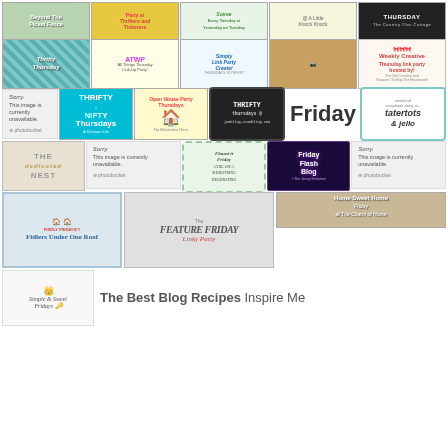[Figure (infographic): Row of blog party button images including Beyond The Picket Fence, Party at Thrifters and Tinkerers, Soiree Every Tuesday at Yesterday on Tuesday, @ A Little Knock Knock, and Thrifty Thursday]
[Figure (infographic): Row of blog party button images including Thrifty Thursday, ATWP All Things Thursday Linky Party, Simply Link Party Create! Thursdays 10 PM EST, a candle photo, and Weekly Creative Thursday link party]
[Figure (infographic): Row including sorry image unavailable, Thrifty Nifty Thursdays A Denison Life, Open House Party Thursdays No Minimalist Here, Thrifty Thursdays jumbling-stumbling.com, and Tatertots and Jello weekend scrapbook party, plus Friday label text]
[Figure (infographic): Row of blog party buttons: The Dedicated Nest, sorry unavailable, Flaunt it Friday Chic on a Shoestring Decorating, Friday Flash Blog @The Jenny Evolution, sorry unavailable]
[Figure (infographic): Bottom row: Home Sweet Home Friday at The Charm of Home, Fidlers Under One Roof Fiddly Fridays, The Feature Friday Linky Party, and Simple & Sweet Fridays crown logo]
The Best Blog Recipes Inspire Me